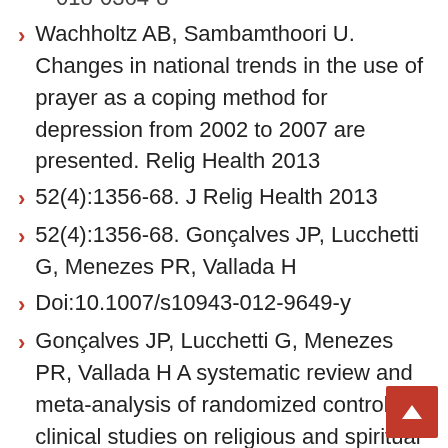Wachholtz AB, Sambamthoori U. Changes in national trends in the use of prayer as a coping method for depression from 2002 to 2007 are presented. Relig Health 2013
52(4):1356-68. J Relig Health 2013
52(4):1356-68. Gonçalves JP, Lucchetti G, Menezes PR, Vallada H
Doi:10.1007/s10943-012-9649-y
Gonçalves JP, Lucchetti G, Menezes PR, Vallada H A systematic review and meta-analysis of randomized controlled clinical studies on religious and spiritual therapies in mental health care. Journal of Psychological Medicine. 2015